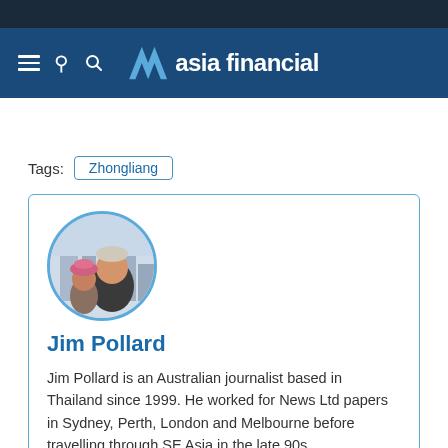asia financial
Tags: Zhongliang
[Figure (photo): Circular profile photo of Jim Pollard with a young girl, city skyline background]
Jim Pollard
Jim Pollard is an Australian journalist based in Thailand since 1999. He worked for News Ltd papers in Sydney, Perth, London and Melbourne before travelling through SE Asia in the late 90s.